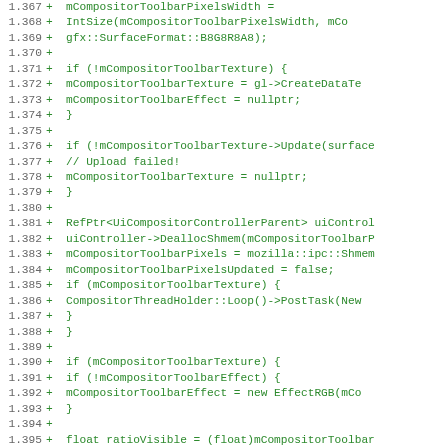[Figure (screenshot): Code diff screenshot showing C++ source code lines 1.367–1.399, all marked with '+' (additions), displaying compositor toolbar texture update logic in green monospace font on white background.]